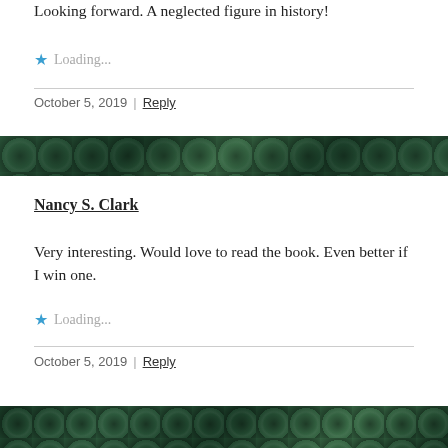Looking forward. A neglected figure in history!
★ Loading...
October 5, 2019 | Reply
[Figure (illustration): Decorative dark green damask/floral patterned banner strip]
Nancy S. Clark
Very interesting. Would love to read the book. Even better if I win one.
★ Loading...
October 5, 2019 | Reply
[Figure (illustration): Decorative dark green damask/floral patterned banner strip at bottom]